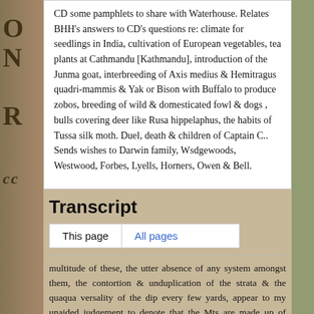CD some pamphlets to share with Waterhouse. Relates BHH's answers to CD's questions re: climate for seedlings in India, cultivation of European vegetables, tea plants at Cathmandu [Kathmandu], introduction of the Junma goat, interbreeding of Axis medius & Hemitragus quadri-mammis & Yak or Bison with Buffalo to produce zobos, breeding of wild & domesticated fowl & dogs , bulls covering deer like Rusa hippelaphus, the habits of Tussa silk moth. Duel, death & children of Captain C.. Sends wishes to Darwin family, Wsdgewoods, Westwood, Forbes, Lyells, Horners, Owen & Bell.
Transcript
This page | All pages
multitude of these, the utter absence of any system amongst them, the contortion & unduplication of the strata & the quaqua versality of the dip every few yards, appear to my unaided judgement to denote that the Mts are made up of shattered masses, upheaved without order. Such a pile of